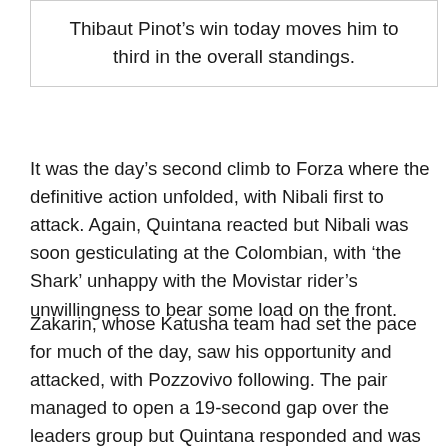Thibaut Pinot's win today moves him to third in the overall standings.
It was the day's second climb to Forza where the definitive action unfolded, with Nibali first to attack. Again, Quintana reacted but Nibali was soon gesticulating at the Colombian, with 'the Shark' unhappy with the Movistar rider's unwillingness to bear some load on the front.
Zakarin, whose Katusha team had set the pace for much of the day, saw his opportunity and attacked, with Pozzovivo following. The pair managed to open a 19-second gap over the leaders group but Quintana responded and was followed by Nibali and Pinot as the gradient hit 11% and managed to close the gap to the lead pair, while also distancing Dumoulin, who was 30 seconds down.